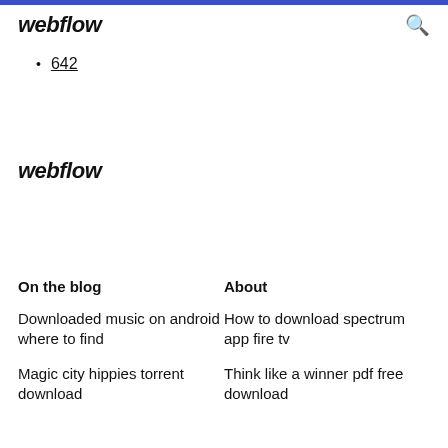webflow
642
webflow
On the blog
About
Downloaded music on android where to find
How to download spectrum app fire tv
Magic city hippies torrent download
Think like a winner pdf free download